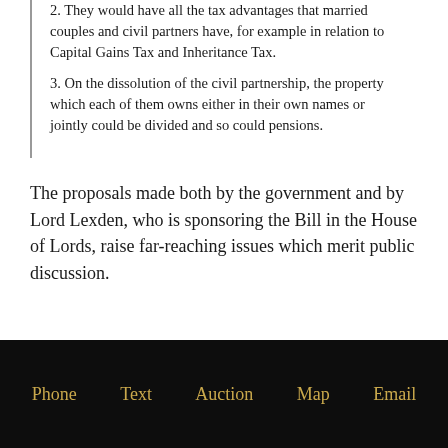2. They would have all the tax advantages that married couples and civil partners have, for example in relation to Capital Gains Tax and Inheritance Tax.
3. On the dissolution of the civil partnership, the property which each of them owns either in their own names or jointly could be divided and so could pensions.
The proposals made both by the government and by Lord Lexden, who is sponsoring the Bill in the House of Lords, raise far-reaching issues which merit public discussion.
Phone   Text   Auction   Map   Email